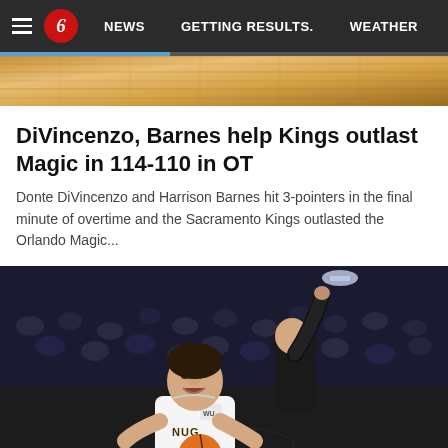NEWS  GETTING RESULTS.  WEATHER
[Figure (photo): Basketball court wooden floor banner/header image]
DiVincenzo, Barnes help Kings outlast Magic in 114-110 in OT
Donte DiVincenzo and Harrison Barnes hit 3-pointers in the final minute of overtime and the Sacramento Kings outlasted the Orlando Magic...
[Figure (photo): Basketball game action photo showing a player in a white Nuggets jersey holding the ball and looking up, with a defender in a dark jersey behind him, crowd in background]